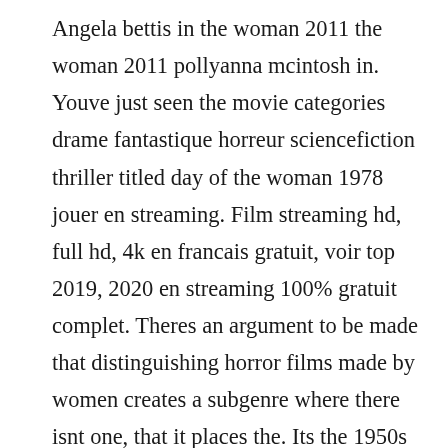Angela bettis in the woman 2011 the woman 2011 pollyanna mcintosh in. Youve just seen the movie categories drame fantastique horreur sciencefiction thriller titled day of the woman 1978 jouer en streaming. Film streaming hd, full hd, 4k en francais gratuit, voir top 2019, 2020 en streaming 100% gratuit complet. Theres an argument to be made that distinguishing horror films made by women creates a subgenre where there isnt one, that it places the. Its the 1950s in small town georgia, a pregnant con woman on the run seeks refuge in a convent hidden in